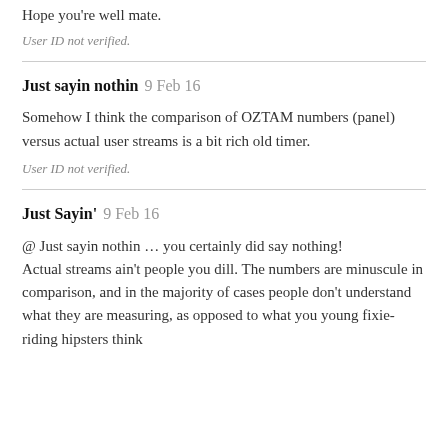Hope you're well mate.
User ID not verified.
Just sayin nothin 9 Feb 16
Somehow I think the comparison of OZTAM numbers (panel) versus actual user streams is a bit rich old timer.
User ID not verified.
Just Sayin' 9 Feb 16
@ Just sayin nothin … you certainly did say nothing! Actual streams ain't people you dill. The numbers are minuscule in comparison, and in the majority of cases people don't understand what they are measuring, as opposed to what you young fixie-riding hipsters think